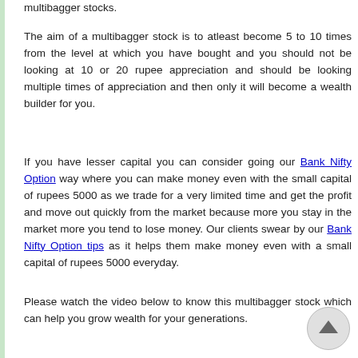multibagger stocks.
The aim of a multibagger stock is to atleast become 5 to 10 times from the level at which you have bought and you should not be looking at 10 or 20 rupee appreciation and should be looking multiple times of appreciation and then only it will become a wealth builder for you.
If you have lesser capital you can consider going our Bank Nifty Option way where you can make money even with the small capital of rupees 5000 as we trade for a very limited time and get the profit and move out quickly from the market because more you stay in the market more you tend to lose money. Our clients swear by our Bank Nifty Option tips as it helps them make money even with a small capital of rupees 5000 everyday.
Please watch the video below to know this multibagger stock which can help you grow wealth for your generations.